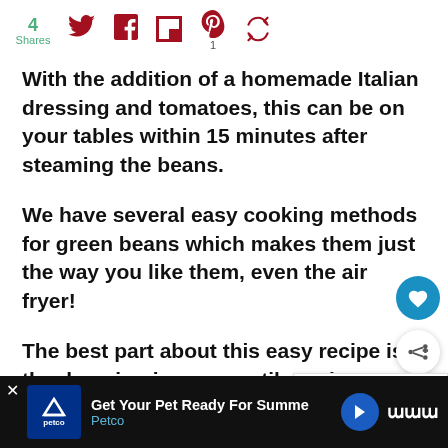4 Shares | social share bar with Twitter, Facebook, Flipboard, Pinterest (1), and recycle/repost icons
With the addition of a homemade Italian dressing and tomatoes, this can be on your tables within 15 minutes after steaming the beans.
We have several easy cooking methods for green beans which makes them just the way you like them, even the air fryer!
The best part about this easy recipe is the dressing is so versatile and you can change the vegetables to whatever you
[Figure (infographic): WHAT'S NEXT arrow label with Italian Escarole... thumbnail image card]
Get Your Pet Ready For Summe | Petco advertisement bar